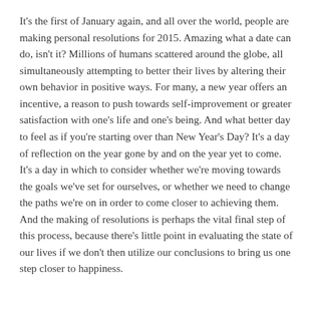It's the first of January again, and all over the world, people are making personal resolutions for 2015. Amazing what a date can do, isn't it? Millions of humans scattered around the globe, all simultaneously attempting to better their lives by altering their own behavior in positive ways. For many, a new year offers an incentive, a reason to push towards self-improvement or greater satisfaction with one's life and one's being. And what better day to feel as if you're starting over than New Year's Day? It's a day of reflection on the year gone by and on the year yet to come. It's a day in which to consider whether we're moving towards the goals we've set for ourselves, or whether we need to change the paths we're on in order to come closer to achieving them. And the making of resolutions is perhaps the vital final step of this process, because there's little point in evaluating the state of our lives if we don't then utilize our conclusions to bring us one step closer to happiness.